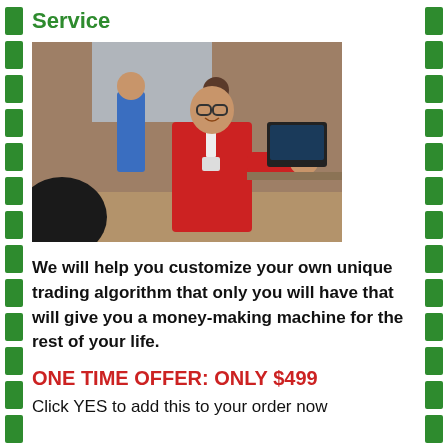Service
[Figure (photo): A smiling man in a red sweater with a lanyard/badge extends his hand for a handshake in an office setting with colleagues in the background.]
We will help you customize your own unique trading algorithm that only you will have that will give you a money-making machine for the rest of your life.
ONE TIME OFFER: ONLY $499
Click YES to add this to your order now